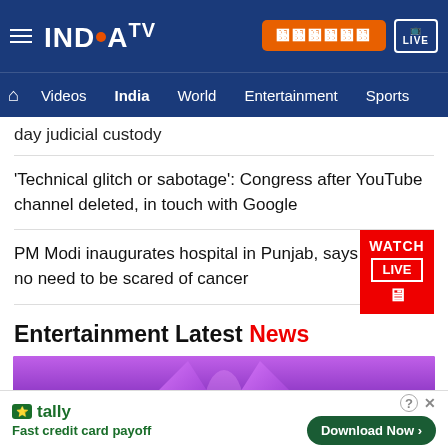India TV — Navigation: Home, Videos, India, World, Entertainment, Sports
day judicial custody
'Technical glitch or sabotage': Congress after YouTube channel deleted, in touch with Google
PM Modi inaugurates hospital in Punjab, says no need to be scared of cancer
Entertainment Latest News
[Figure (photo): Entertainment news photo showing performers on a purple-lit stage with BTS-style logo]
Tally — Fast credit card payoff — Download Now